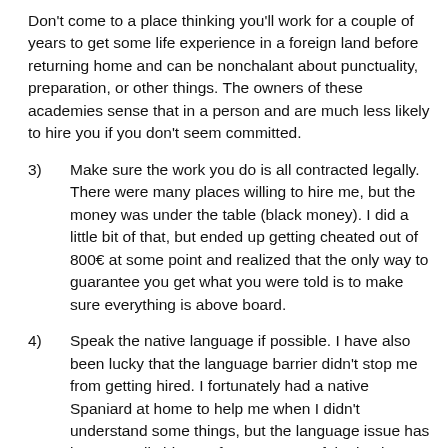Don't come to a place thinking you'll work for a couple of years to get some life experience in a foreign land before returning home and can be nonchalant about punctuality, preparation, or other things. The owners of these academies sense that in a person and are much less likely to hire you if you don't seem committed.
3)    Make sure the work you do is all contracted legally. There were many places willing to hire me, but the money was under the table (black money). I did a little bit of that, but ended up getting cheated out of 800€ at some point and realized that the only way to guarantee you get what you were told is to make sure everything is above board.
4)    Speak the native language if possible. I have also been lucky that the language barrier didn't stop me from getting hired. I fortunately had a native Spaniard at home to help me when I didn't understand some things, but the language issue has been a really big one for me. Many of the business and academy owners are Catalan / Spanish here and without the ability to talk or interview